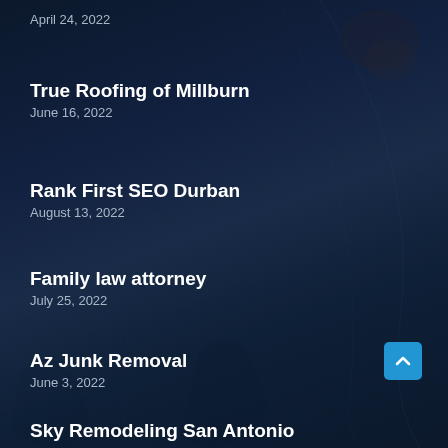True Roofing of Millburn
June 16, 2022
Rank First SEO Durban
August 13, 2022
Family law attorney
July 25, 2022
Az Junk Removal
June 3, 2022
Sky Remodeling San Antonio
October 14, 2021